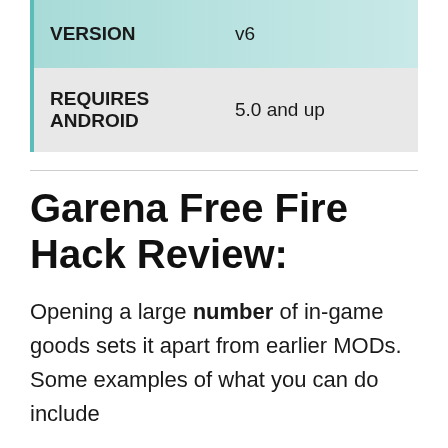|  |  |
| --- | --- |
| VERSION | v6 |
| REQUIRES ANDROID | 5.0 and up |
Garena Free Fire Hack Review:
Opening a large number of in-game goods sets it apart from earlier MODs. Some examples of what you can do include